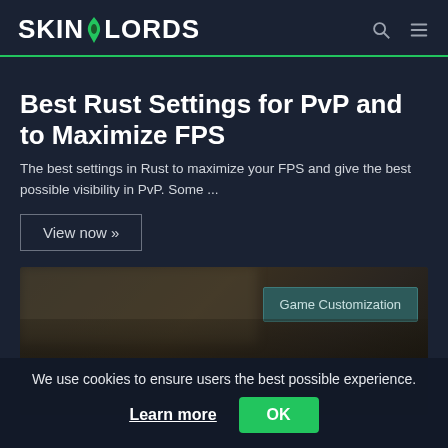SKIN[LORDS
Best Rust Settings for PvP and to Maximize FPS
The best settings in Rust to maximize your FPS and give the best possible visibility in PvP. Some ...
View now »
[Figure (screenshot): Rust game settings screenshot showing 'Game Customization' tab in top right]
We use cookies to ensure users the best possible experience. Learn more OK